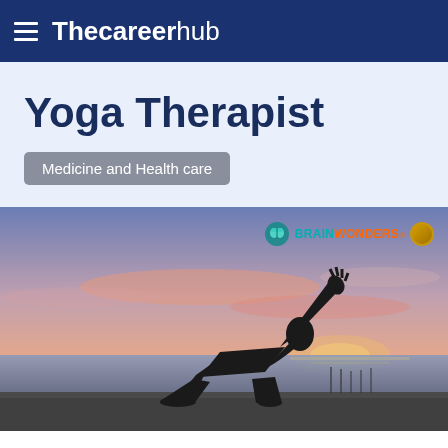Thecareerhub
Yoga Therapist
Medicine and Health care
[Figure (photo): Silhouette of a person performing a yoga pose (extended side angle / warrior) against a dramatic sunset sky with water in the background. Brainwonders logo overlay in top right corner.]